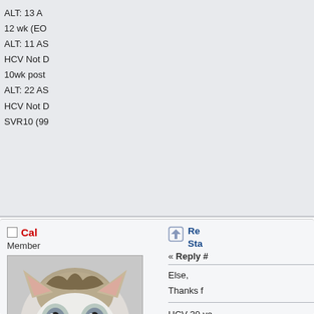ALT: 13 A
12 wk (EO
ALT: 11 AS
HCV Not D
10wk post
ALT: 22 AS
HCV Not D
SVR10 (99
Cal
Member
[Figure (photo): Profile avatar of a small kitten with wide grey eyes and white/tabby fur]
Posts: 957
Cal on Viekira Pak
Re
Sta
« Reply #
Else,
Thanks f
HCV 30 ye
Veikira Pa
Brisbane.
17 weeks.
V/L 9 millio
2 week V/
12 weeks
No 17 wee
EOT Post